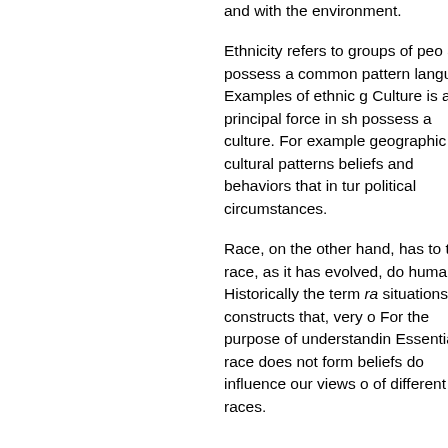and with the environment.
Ethnicity refers to groups of people and possess a common pattern language. Examples of ethnic g Culture is a principal force in sh possess a culture. For example geographic and cultural patterns beliefs and behaviors that in turn political circumstances.
Race, on the other hand, has to term race, as it has evolved, do humans. Historically the term ra situations constructs that, very o For the purpose of understanding Essentially, race does not form beliefs do influence our views o of different races.